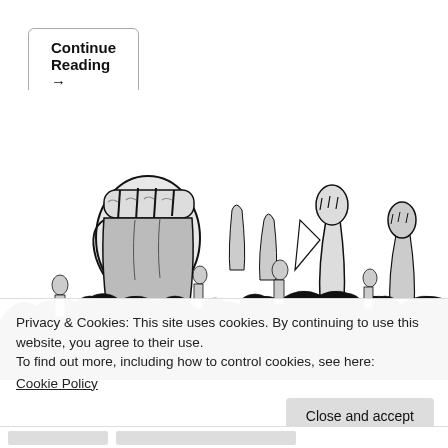Continue Reading →
[Figure (illustration): Black and white illustration of a crowd of people with raised fists in a protest/rally scene. A large fist dominates the left foreground, with many raised arms, hands, and figures visible in the crowd behind. High-contrast monochrome ink style.]
Privacy & Cookies: This site uses cookies. By continuing to use this website, you agree to their use.
To find out more, including how to control cookies, see here:
Cookie Policy
Close and accept